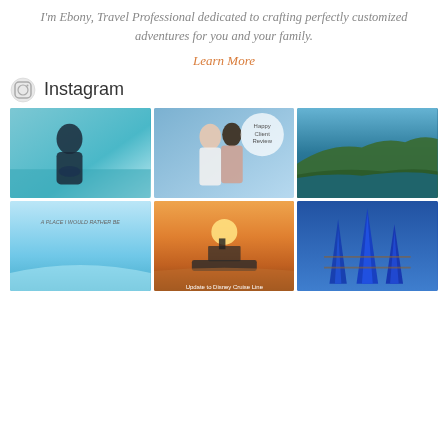I'm Ebony, Travel Professional dedicated to crafting perfectly customized adventures for you and your family.
Learn More
Instagram
[Figure (photo): Woman in navy blue outfit sitting on a boat with turquoise water below]
[Figure (photo): Couple posing on a cruise ship deck with Happy Client Review badge]
[Figure (photo): Rocky coastline with lush green trees and blue water]
[Figure (photo): Shallow turquoise beach water with text overlay about place I would rather be]
[Figure (photo): Cruise ship at sunset on the ocean with text Update to Disney Cruise Line]
[Figure (photo): Blue architectural spires or towers]